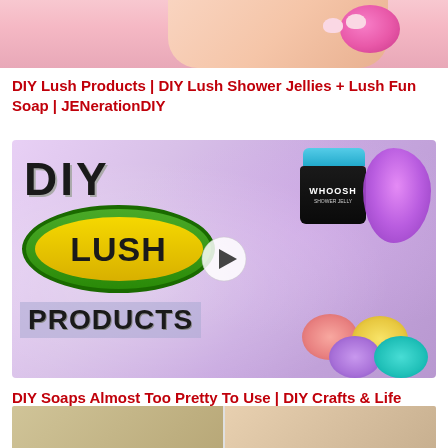[Figure (photo): Top portion of a hand holding a pink bath/soap product against a light pink background]
DIY Lush Products | DIY Lush Shower Jellies + Lush Fun Soap | JENerationDIY
[Figure (screenshot): Video thumbnail showing DIY Lush Products with the Lush logo, colorful soap discs in pink, yellow, purple and teal, a black Whoosh shower jelly jar, purple splash, and a play button in the center. Text reads DIY LUSH PRODUCTS]
DIY Soaps Almost Too Pretty To Use | DIY Crafts & Life Hacks by Blossom
[Figure (photo): Bottom portion of an image showing DIY soaps, partially visible]